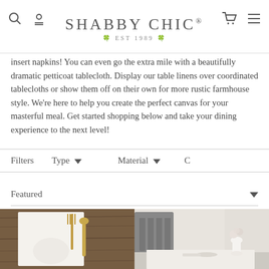SHABBY CHIC® EST 1989
insert napkins! You can even go the extra mile with a beautifully dramatic petticoat tablecloth. Display our table linens over coordinated tablecloths or show them off on their own for more rustic farmhouse style. We're here to help you create the perfect canvas for your masterful meal. Get started shopping below and take your dining experience to the next level!
Filters   Type ▼   Material ▼
Featured ▼
[Figure (photo): White lace napkin with gold fork and spoon on rustic wood table]
[Figure (photo): White table setting with gray chair, flowers in white vase, and white table runner]